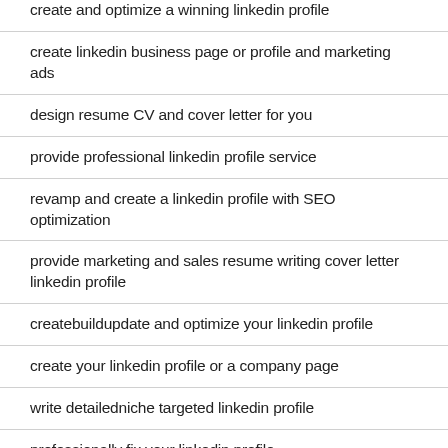create and optimize a winning linkedin profile
create linkedin business page or profile and marketing ads
design resume CV and cover letter for you
provide professional linkedin profile service
revamp and create a linkedin profile with SEO optimization
provide marketing and sales resume writing cover letter linkedin profile
createbuildupdate and optimize your linkedin profile
create your linkedin profile or a company page
write detailedniche targeted linkedin profile
professionally fix your linkedin profile